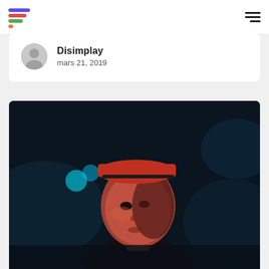[Figure (logo): Colorful stacked bar logo mark with 4 horizontal bars in purple, red, green, and orange]
[Figure (other): Hamburger menu icon with three horizontal lines]
Disimplay
mars 21, 2019
[Figure (photo): Portrait photo of a young person wearing a red baseball cap backwards, lit with red/orange light against a dark background with cyan bokeh lights]